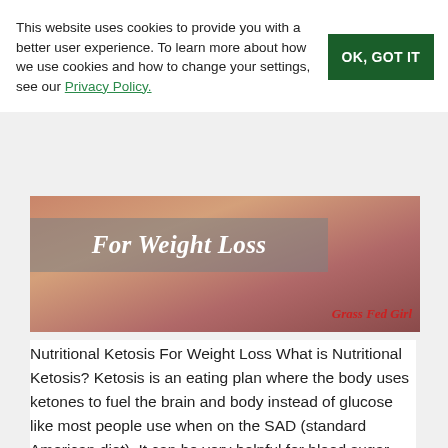This website uses cookies to provide you with a better user experience. To learn more about how we use cookies and how to change your settings, see our Privacy Policy.
[Figure (photo): Image banner showing torso of a person, with overlay text reading 'For Weight Loss' in white italic bold font on a grey rectangle, and 'Grass Fed Girl' in red italic text at bottom right]
Nutritional Ketosis For Weight Loss What is Nutritional Ketosis? Ketosis is an eating plan where the body uses ketones to fuel the brain and body instead of glucose like most people use when on the SAD (standard American diet). It can be very helpful for blood sugar and consistent energy…
READ MORE
FILED UNDER: NUTRITION ARTICLES, POPULAR POSTS, WEIGHT LOSS